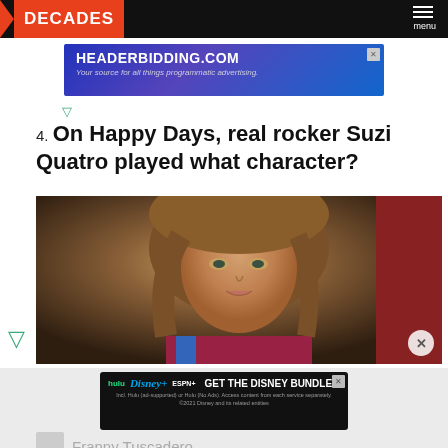DECADES | menu
[Figure (screenshot): HeaderBidding.com advertisement banner: 'Your source for all things programmatic advertising.']
4. On Happy Days, real rocker Suzi Quatro played what character?
[Figure (photo): Photo of a young woman with long brown hair, looking at camera, from TV show Happy Days.]
[Figure (screenshot): Disney Bundle advertisement: hulu, Disney+, ESPN+ - GET THE DISNEY BUNDLE. Incl. Hulu (ad-supported) or Hulu (No Ads). Access content from each service separately. ©2021 Disney and its related entities.]
Franny Tuscadero